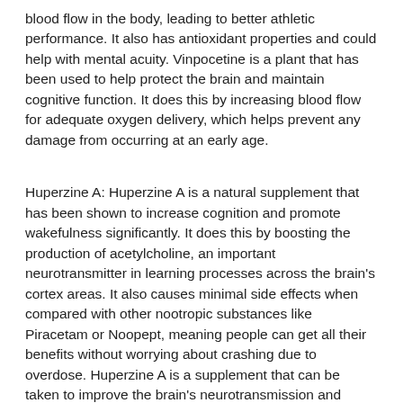blood flow in the body, leading to better athletic performance. It also has antioxidant properties and could help with mental acuity. Vinpocetine is a plant that has been used to help protect the brain and maintain cognitive function. It does this by increasing blood flow for adequate oxygen delivery, which helps prevent any damage from occurring at an early age.
Huperzine A: Huperzine A is a natural supplement that has been shown to increase cognition and promote wakefulness significantly. It does this by boosting the production of acetylcholine, an important neurotransmitter in learning processes across the brain's cortex areas. It also causes minimal side effects when compared with other nootropic substances like Piracetam or Noopept, meaning people can get all their benefits without worrying about crashing due to overdose. Huperzine A is a supplement that can be taken to improve the brain's neurotransmission and protect the nerve cells. It's also been shown in animal studies and clinical trials on humans to prevent diseases related to this area of the body, like Alzheimer's disease or Parkinson's amyloid polyneuropathy.